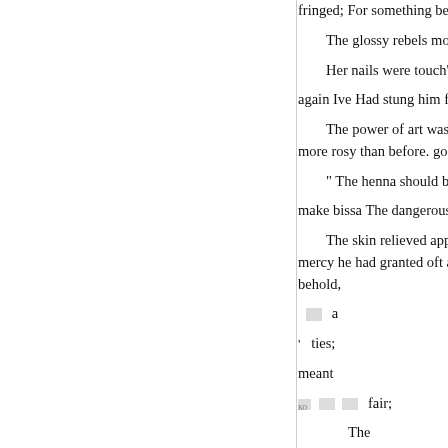fringed; For something better, m
The glossy rebels mock'd the
Her nails were touch'd with h
again Ive Had stung him from a
The power of art was turn'd t more rosy than before. gold,
" The henna should be deeply
make bissa The dangerous life i
The skin relieved appear mor mercy he had granted oft abused behold,
a
' ties;
meant
fair;
The